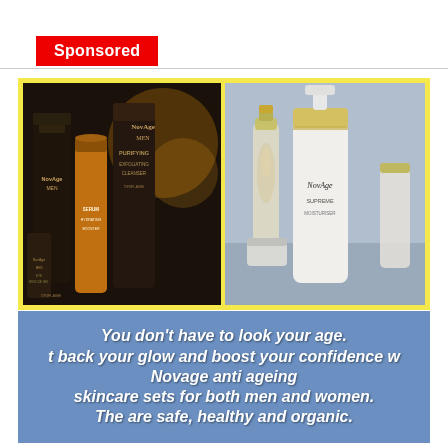Sponsored
[Figure (photo): Advertisement image showing NovAge Men skincare products (dark bottles and pump dispensers with orange serum) on the left, and NovAge women's skincare products (white pump bottle and glass serum bottle) on the right, set against a yellow border background]
You don't have to look your age. Get back your glow and boost your confidence with Novage anti ageing skincare sets for both men and women. The are safe, healthy and organic.